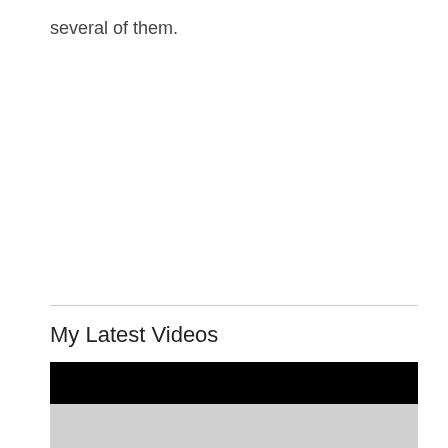several of them.
My Latest Videos
[Figure (screenshot): Video player thumbnail — top portion is solid black bar, bottom portion is light gray area representing a video player or embedded content.]